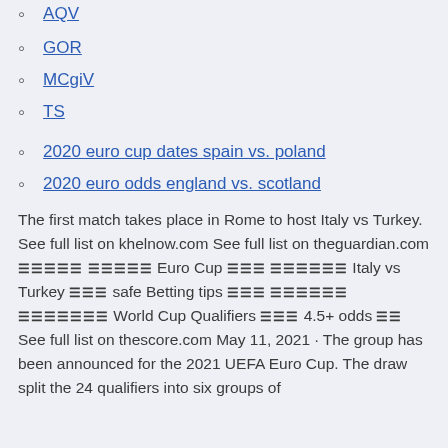GOR
MCgiV
TS
2020 euro cup dates spain vs. poland
2020 euro odds england vs. scotland
The first match takes place in Rome to host Italy vs Turkey. See full list on khelnow.com See full list on theguardian.com 유로컵 일정 Euro Cup 중계 무료보기 Italy vs Turkey 배팅 safe Betting tips 배팅 안전 사이트 월드컵 예선전 World Cup Qualifiers 배팅 4.5+ odds 배팅 See full list on thescore.com May 11, 2021 · The group has been announced for the 2021 UEFA Euro Cup. The draw split the 24 qualifiers into six groups of